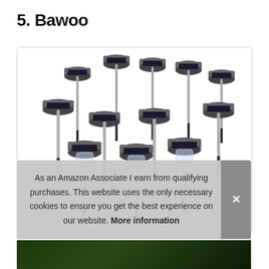5. Bawoo
[Figure (photo): Multiple solar garden stake lights with stainless steel poles and round dark solar panels on top, arranged in a group product display on white background]
As an Amazon Associate I earn from qualifying purchases. This website uses the only necessary cookies to ensure you get the best experience on our website. More information
[Figure (photo): Bottom strip showing a dark green garden background]